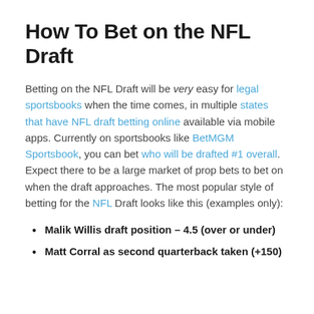How To Bet on the NFL Draft
Betting on the NFL Draft will be very easy for legal sportsbooks when the time comes, in multiple states that have NFL draft betting online available via mobile apps. Currently on sportsbooks like BetMGM Sportsbook, you can bet who will be drafted #1 overall. Expect there to be a large market of prop bets to bet on when the draft approaches. The most popular style of betting for the NFL Draft looks like this (examples only):
Malik Willis draft position – 4.5 (over or under)
Matt Corral as second quarterback taken (+150)